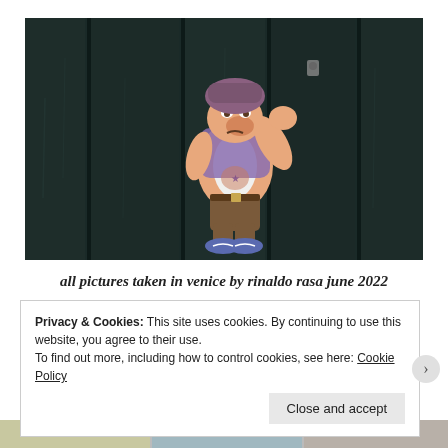[Figure (photo): Street art photo showing a cartoon character resembling Grumpy dwarf from Snow White, painted on dark wooden doors. The character is depicted in a muscular pose wearing Nike shoes, with graffiti-style artwork on a weathered dark surface.]
all pictures taken in venice by rinaldo rasa june 2022
Privacy & Cookies: This site uses cookies. By continuing to use this website, you agree to their use.
To find out more, including how to control cookies, see here: Cookie Policy